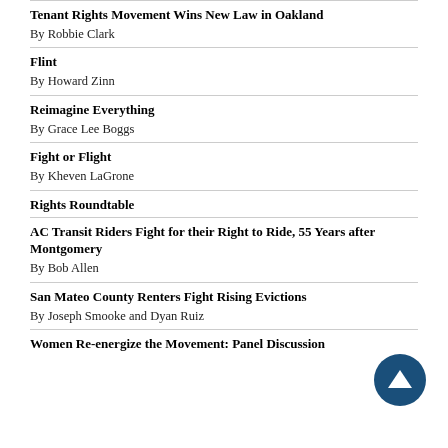Tenant Rights Movement Wins New Law in Oakland
By Robbie Clark
Flint
By Howard Zinn
Reimagine Everything
By Grace Lee Boggs
Fight or Flight
By Kheven LaGrone
Rights Roundtable
AC Transit Riders Fight for their Right to Ride, 55 Years after Montgomery
By Bob Allen
San Mateo County Renters Fight Rising Evictions
By Joseph Smooke and Dyan Ruiz
Women Re-energize the Movement: Panel Discussion